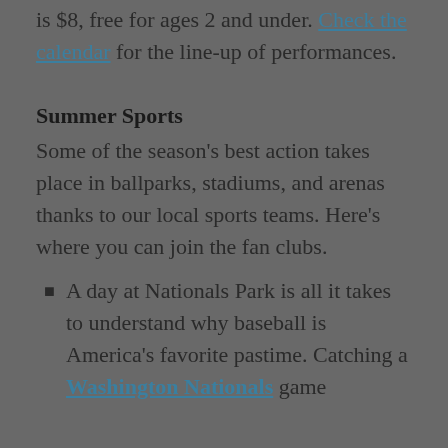take place every Thursday at 9:30am and 11:30 from June 26 – July 31. Admission is $8, free for ages 2 and under. Check the calendar for the line-up of performances.
Summer Sports
Some of the season's best action takes place in ballparks, stadiums, and arenas thanks to our local sports teams. Here's where you can join the fan clubs.
A day at Nationals Park is all it takes to understand why baseball is America's favorite pastime. Catching a Washington Nationals game